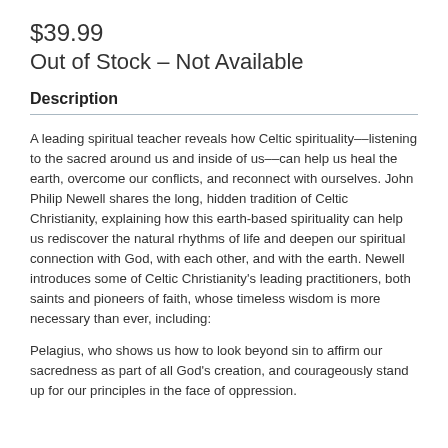$39.99
Out of Stock – Not Available
Description
A leading spiritual teacher reveals how Celtic spirituality––listening to the sacred around us and inside of us––can help us heal the earth, overcome our conflicts, and reconnect with ourselves. John Philip Newell shares the long, hidden tradition of Celtic Christianity, explaining how this earth-based spirituality can help us rediscover the natural rhythms of life and deepen our spiritual connection with God, with each other, and with the earth. Newell introduces some of Celtic Christianity's leading practitioners, both saints and pioneers of faith, whose timeless wisdom is more necessary than ever, including:
Pelagius, who shows us how to look beyond sin to affirm our sacredness as part of all God's creation, and courageously stand up for our principles in the face of oppression.